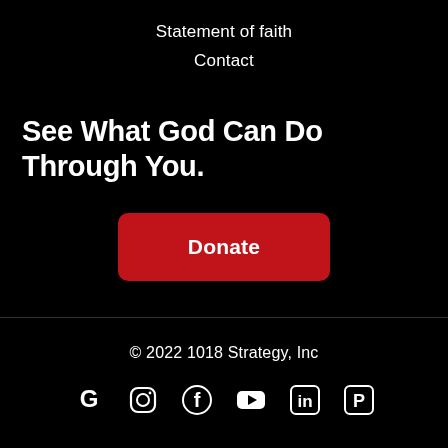Statement of faith
Contact
See What God Can Do Through You.
[Figure (other): Red Donate button]
© 2022 1018 Strategy, Inc
[Figure (other): Social media icons: Google, Instagram, Facebook, YouTube, LinkedIn, Pinterest]